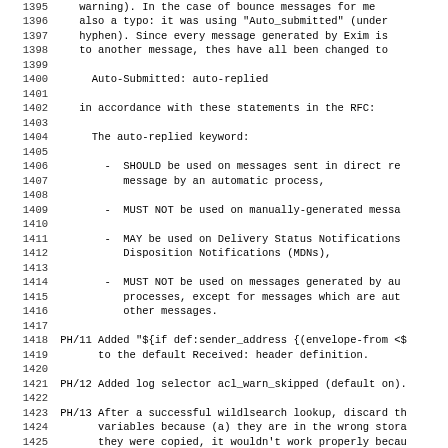1395    warning). In the case of bounce messages for me also a typo: it was using "Auto_submitted" (under hyphen). Since every message generated by Exim is to another message, thes have all been changed to
1400      Auto-Submitted: auto-replied
1402    in accordance with these statements in the RFC:
1404      The auto-replied keyword:
1406        -  SHOULD be used on messages sent in direct re message by an automatic process,
1409        -  MUST NOT be used on manually-generated messa
1411        -  MAY be used on Delivery Status Notifications Disposition Notifications (MDNs),
1414        -  MUST NOT be used on messages generated by au processes, except for messages which are aut other messages.
1418 PH/11 Added "${if def:sender_address {(envelope-from <$ to the default Received: header definition.
1421 PH/12 Added log selector acl_warn_skipped (default on).
1423 PH/13 After a successful wildlsearch lookup, discard th variables because (a) they are in the wrong stora they were copied, it wouldn't work properly becau
1427 PH/14 Add check rfc2047 length to disable enforcement.